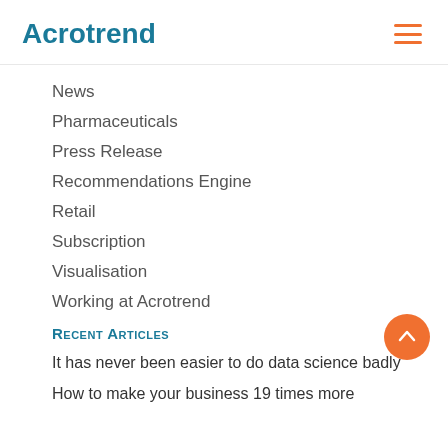Acrotrend
News
Pharmaceuticals
Press Release
Recommendations Engine
Retail
Subscription
Visualisation
Working at Acrotrend
Recent Articles
It has never been easier to do data science badly
How to make your business 19 times more